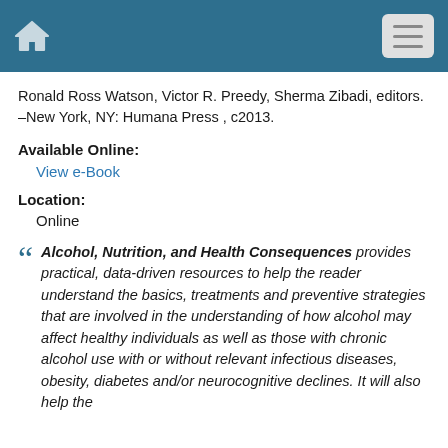Home | Menu
Ronald Ross Watson, Victor R. Preedy, Sherma Zibadi, editors. –New York, NY: Humana Press , c2013.
Available Online:
View e-Book
Location:
Online
Alcohol, Nutrition, and Health Consequences provides practical, data-driven resources to help the reader understand the basics, treatments and preventive strategies that are involved in the understanding of how alcohol may affect healthy individuals as well as those with chronic alcohol use with or without relevant infectious diseases, obesity, diabetes and/or neurocognitive declines. It will also help the